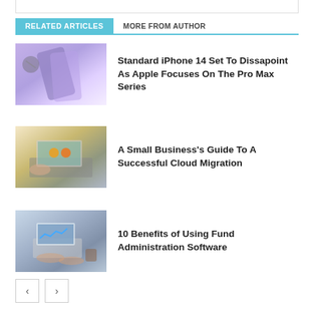RELATED ARTICLES
MORE FROM AUTHOR
Standard iPhone 14 Set To Dissapoint As Apple Focuses On The Pro Max Series
A Small Business's Guide To A Successful Cloud Migration
10 Benefits of Using Fund Administration Software